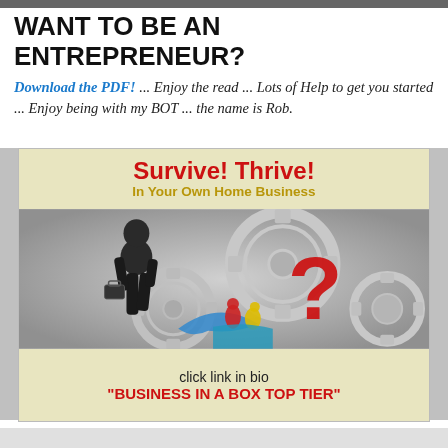WANT TO BE AN ENTREPRENEUR?
Download the PDF!  ...  Enjoy the read ... Lots of Help to get you started ... Enjoy being with my BOT ... the name is Rob.
[Figure (illustration): Book cover illustration with text 'Survive! Thrive! In Your Own Home Business' at top on cream background, center shows a silhouette of a businessman with gears and a large red question mark, colorful abstract figures at bottom. Footer text: 'click link in bio' and '"BUSINESS IN A BOX TOP TIER"'.]